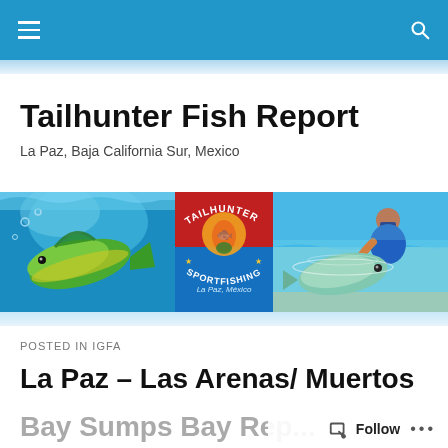Tailhunter Fish Report
La Paz, Baja California Sur, Mexico
[Figure (photo): Banner with three panels: left panel shows a mahi-mahi fish underwater, center panel shows the Tailhunter Sportfishing logo with a mermaid holding fish, La Paz Mexico text, right panel shows a person with a large fish in shallow turquoise water]
POSTED IN IGFA
La Paz – Las Arenas/ Muertos Bay Sumps Bay Rep...